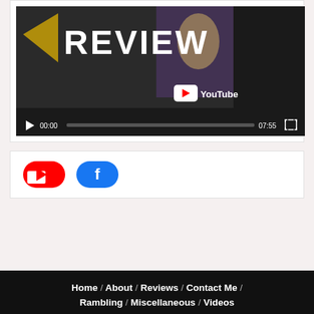[Figure (screenshot): YouTube video player showing a 'REVIEW' thumbnail with anime-style characters, controls showing 00:00 / 07:55 and a progress bar]
[Figure (infographic): Social media buttons: red YouTube icon button and blue Facebook icon button]
Home / About / Reviews / Contact Me / Rambling / Miscellaneous / Videos